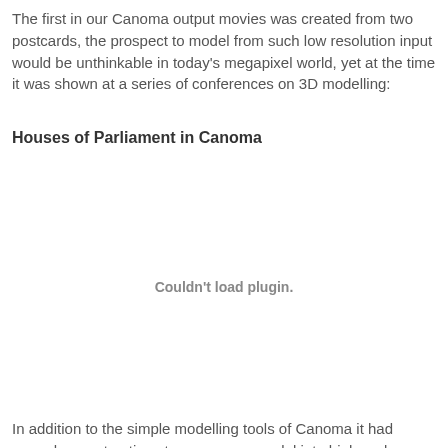The first in our Canoma output movies was created from two postcards, the prospect to model from such low resolution input would be unthinkable in today's megapixel world, yet at the time it was shown at a series of conferences on 3D modelling:
Houses of Parliament in Canoma
[Figure (other): Embedded plugin content area showing 'Couldn't load plugin.' placeholder message where a 3D Canoma movie of the Houses of Parliament would play]
In addition to the simple modelling tools of Canoma it had enough export options to move your model into high-end